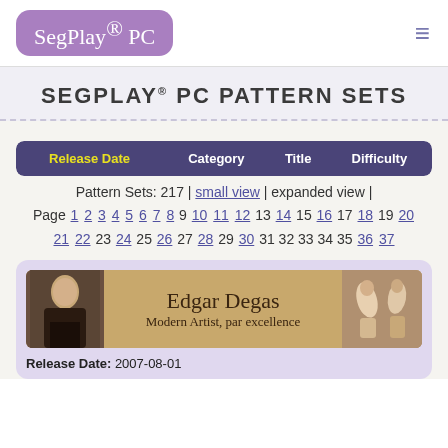SegPlay® PC
SEGPLAY® PC PATTERN SETS
| Release Date | Category | Title | Difficulty |
| --- | --- | --- | --- |
Pattern Sets: 217 | small view | expanded view |
Page 1 2 3 4 5 6 7 8 9 10 11 12 13 14 15 16 17 18 19 20 21 22 23 24 25 26 27 28 29 30 31 32 33 34 35 36 37
[Figure (illustration): Edgar Degas banner with portrait on left and dancers on right, title text 'Edgar Degas, Modern Artist, par excellence' in center]
Release Date: 2007-08-01